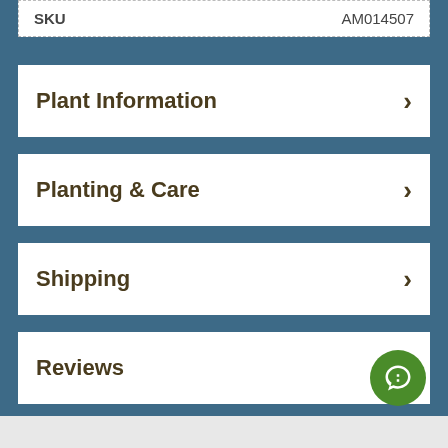| SKU | AM014507 |
| --- | --- |
Plant Information
Planting & Care
Shipping
Reviews